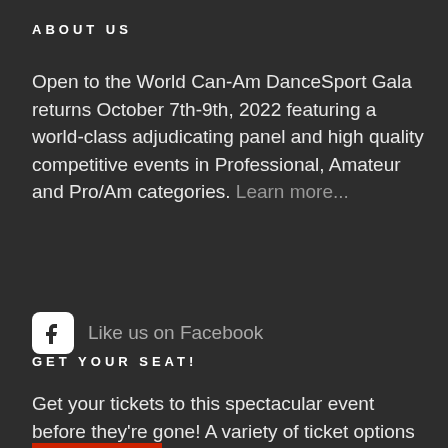ABOUT US
Open to the World Can-Am DanceSport Gala returns October 7th-9th, 2022 featuring a world-class adjudicating panel and high quality competitive events in Professional, Amateur and Pro/Am categories. Learn more...
Like us on Facebook
GET YOUR SEAT!
Get your tickets to this spectacular event before they're gone! A variety of ticket options are available.